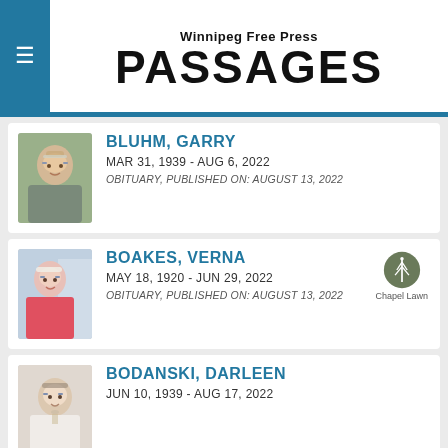Winnipeg Free Press PASSAGES
BLUHM, GARRY
MAR 31, 1939 - AUG 6, 2022
OBITUARY, PUBLISHED ON: AUGUST 13, 2022
BOAKES, VERNA
MAY 18, 1920 - JUN 29, 2022
OBITUARY, PUBLISHED ON: AUGUST 13, 2022
BODANSKI, DARLEEN
JUN 10, 1939 - AUG 17, 2022